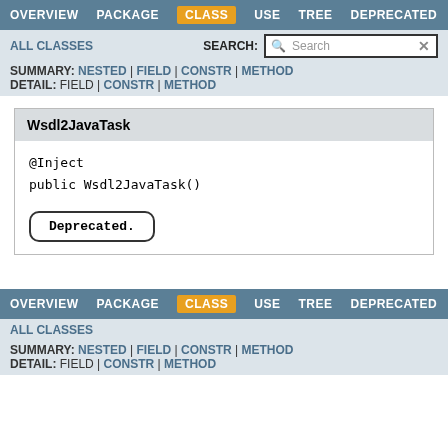OVERVIEW  PACKAGE  CLASS  USE  TREE  DEPRECATED
ALL CLASSES  SEARCH:
SUMMARY: NESTED | FIELD | CONSTR | METHOD
DETAIL: FIELD | CONSTR | METHOD
Wsdl2JavaTask
@Inject
public Wsdl2JavaTask()
Deprecated.
OVERVIEW  PACKAGE  CLASS  USE  TREE  DEPRECATED
ALL CLASSES
SUMMARY: NESTED | FIELD | CONSTR | METHOD
DETAIL: FIELD | CONSTR | METHOD